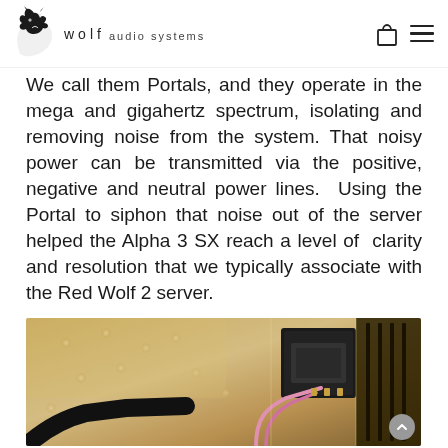wolf audio systems
We call them Portals, and they operate in the mega and gigahertz spectrum, isolating and removing noise from the system. That noisy power can be transmitted via the positive, negative and neutral power lines. Using the Portal to siphon that noise out of the server helped the Alpha 3 SX reach a level of clarity and resolution that we typically associate with the Red Wolf 2 server.
[Figure (photo): Close-up photo of electronic audio components/circuit board with pink wires and a black connector, on a gold/bronze metallic surface]